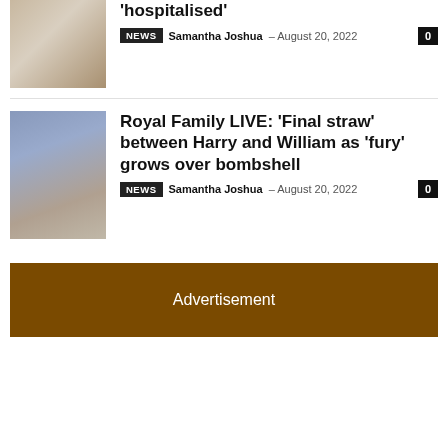[Figure (photo): Partially visible thumbnail image at top of first article]
'hospitalised'
NEWS  Samantha Joshua – August 20, 2022  0
[Figure (photo): Thumbnail photo of Harry and William (royal family)]
Royal Family LIVE: 'Final straw' between Harry and William as 'fury' grows over bombshell
NEWS  Samantha Joshua – August 20, 2022  0
Advertisement